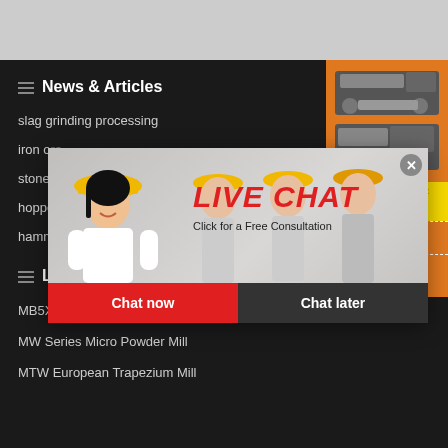News & Articles
slag grinding processing
iron o...
stone...
hoppe...
hamm...
Latest Product
MB5X158 Pendulous Suspension
MW Series Micro Powder Mill
MTW European Trapezium Mill
[Figure (screenshot): Live chat popup overlay showing workers in yellow hard hats, LIVE CHAT heading in red italic, 'Click for a Free Consultation' text, Chat now (red) and Chat later (dark) buttons, and a close X button]
[Figure (screenshot): Right sidebar with orange background showing industrial machinery images, Enjoy 3% discount and Click to Chat in yellow bar, Enquiry button, and limingjlmofen@sina.com email]